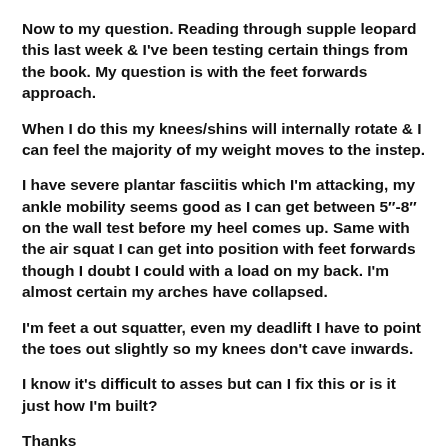Now to my question. Reading through supple leopard this last week & I've been testing certain things from the book. My question is with the feet forwards approach.
When I do this my knees/shins will internally rotate & I can feel the majority of my weight moves to the instep.
I have severe plantar fasciitis which I'm attacking, my ankle mobility seems good as I can get between 5"-8" on the wall test before my heel comes up. Same with the air squat I can get into position with feet forwards though I doubt I could with a load on my back. I'm almost certain my arches have collapsed.
I'm feet a out squatter, even my deadlift I have to point the toes out slightly so my knees don't cave inwards.
I know it's difficult to asses but can I fix this or is it just how I'm built?
Thanks